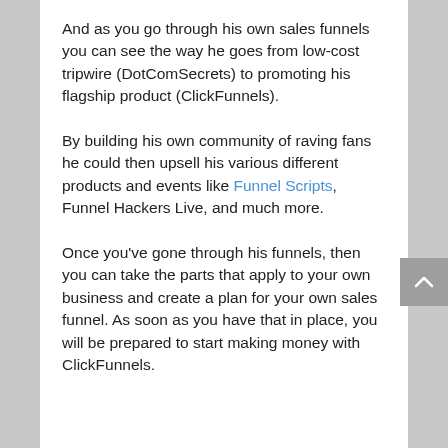And as you go through his own sales funnels you can see the way he goes from low-cost tripwire (DotComSecrets) to promoting his flagship product (ClickFunnels).
By building his own community of raving fans he could then upsell his various different products and events like Funnel Scripts, Funnel Hackers Live, and much more.
Once you've gone through his funnels, then you can take the parts that apply to your own business and create a plan for your own sales funnel. As soon as you have that in place, you will be prepared to start making money with ClickFunnels.